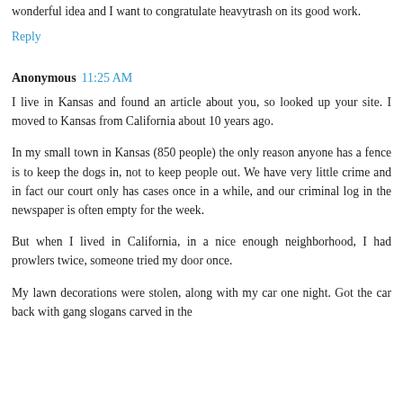wonderful idea and I want to congratulate heavytrash on its good work.
Reply
Anonymous  11:25 AM
I live in Kansas and found an article about you, so looked up your site. I moved to Kansas from California about 10 years ago.
In my small town in Kansas (850 people) the only reason anyone has a fence is to keep the dogs in, not to keep people out. We have very little crime and in fact our court only has cases once in a while, and our criminal log in the newspaper is often empty for the week.
But when I lived in California, in a nice enough neighborhood, I had prowlers twice, someone tried my door once.
My lawn decorations were stolen, along with my car one night. Got the car back with gang slogans carved in the